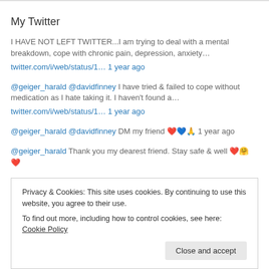My Twitter
I HAVE NOT LEFT TWITTER...I am trying to deal with a mental breakdown, cope with chronic pain, depression, anxiety…
twitter.com/i/web/status/1… 1 year ago
@geiger_harald @davidfinney I have tried & failed to cope without medication as I hate taking it. I haven't found a…
twitter.com/i/web/status/1… 1 year ago
@geiger_harald @davidfinney DM my friend ❤️💙🙏 1 year ago
@geiger_harald Thank you my dearest friend. Stay safe & well ❤️🤗❤️
Privacy & Cookies: This site uses cookies. By continuing to use this website, you agree to their use.
To find out more, including how to control cookies, see here: Cookie Policy
Close and accept